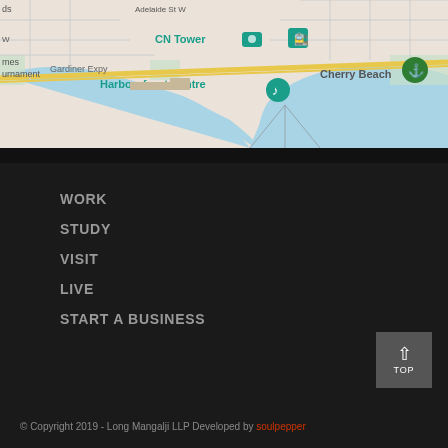[Figure (map): Google Maps screenshot showing Toronto waterfront area with CN Tower, Harbourfront Centre, Gardiner Expy, Cherry Beach, Ward's Island visible]
WORK
STUDY
VISIT
LIVE
START A BUSINESS
© Copyright 2019 - Long Mangalji LLP Developed by soulpepper